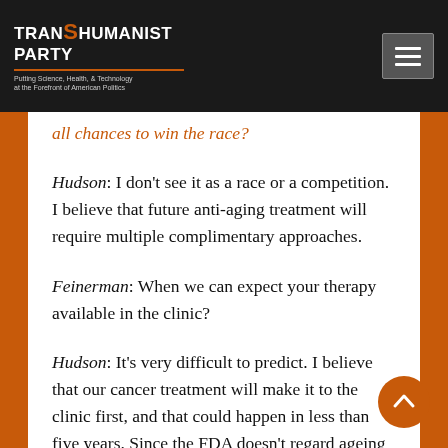TRANSHUMANIST PARTY — Putting Science, Health, & Technology at the Forefront of American Politics
all chances to win the race?
Hudson: I don't see it as a race or a competition. I believe that future anti-aging treatment will require multiple complimentary approaches.
Feinerman: When we can expect your therapy available in the clinic?
Hudson: It's very difficult to predict. I believe that our cancer treatment will make it to the clinic first, and that could happen in less than five years. Since the FDA doesn't regard ageing as an indication, it may take longer for our SENSOlytic™ treatment to reach